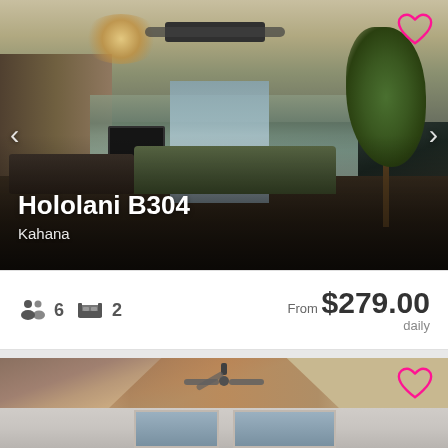[Figure (photo): Interior photo of a vacation rental living room with chandelier, ceiling fan, dining table, sofa, large potted plant, and balcony view of ocean. Navigation arrows on left and right sides. Heart/favorite icon in top right corner.]
Hololani B304
Kahana
6  2  From $279.00 daily
[Figure (photo): Interior photo showing vaulted wood-plank ceiling with ceiling fan, white walls, and windows with view outside. Heart/favorite icon in top right corner.]